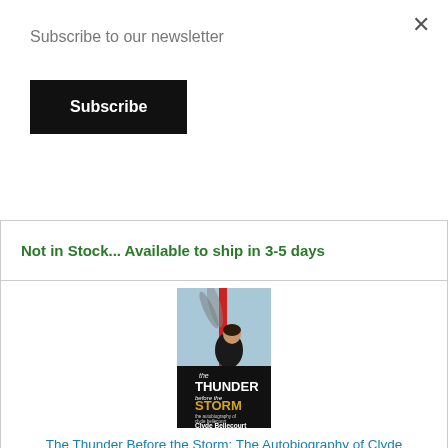Subscribe to our newsletter
Subscribe
Not in Stock... Available to ship in 3-5 days
[Figure (photo): Book cover of 'The Thunder Before the Storm: The Autobiography of Clyde Bellecourt' by Clyde Bellecourt. Shows a man speaking outdoors with a feathered headdress in the background.]
The Thunder Before the Storm: The Autobiography of Clyde Bellecourt (Paperback) By Clyde Bellecourt, Jon Lurie
$19.95